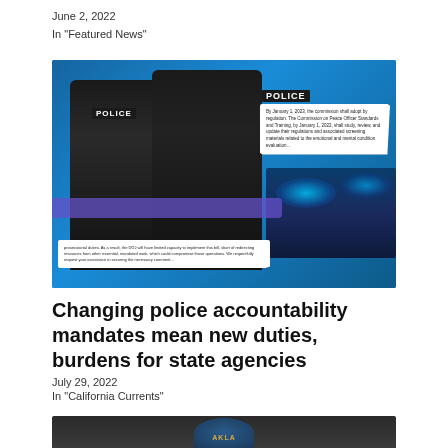June 2, 2022
In "Featured News"
[Figure (photo): Two police officers seen from behind wearing POLICE jackets, with overlaid document text snippets and a police car with blue lights in the background, all on a blue background.]
Changing police accountability mandates mean new duties, burdens for state agencies
July 29, 2022
In "California Currents"
[Figure (photo): Partial view of what appears to be an Oakland city seal or badge logo at the bottom of the page.]